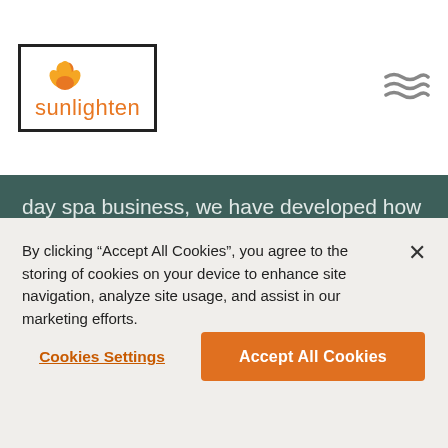[Figure (logo): Sunlighten logo with lotus flower icon in orange inside a black bordered rectangle, with the word 'sunlighten' in orange text below]
[Figure (other): Three wavy horizontal lines icon (hamburger/menu icon with wave style) in gray]
day spa business, we have developed how to increase client demand and maximize revenue with the right pricing, packages, and retail add-ons. And we have boxed up that success model to make it easy for your business. With Sunlighten infrared therapy, they will leave feeling invigorated, light, energized, and wanting to come back for more.
By clicking “Accept All Cookies”, you agree to the storing of cookies on your device to enhance site navigation, analyze site usage, and assist in our marketing efforts.
Cookies Settings
Accept All Cookies